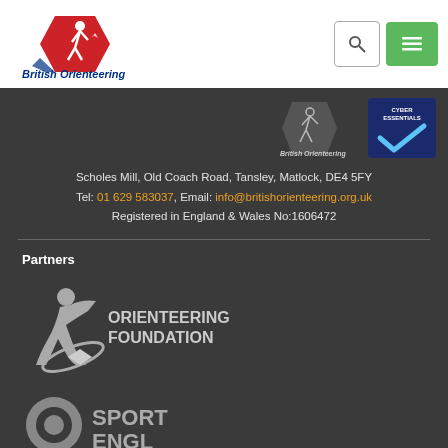[Figure (logo): British Orienteering logo with runner and flag graphic, text 'British Orienteering']
[Figure (logo): British Orienteering footer logo (white version) and Cyber Essentials badge]
Scholes Mill, Old Coach Road, Tansley, Matlock, DE4 5FY
Tel: 01 629 583037, Email: info@britishorienteering.org.uk
Registered in England & Wales No:1606472
Partners
[Figure (logo): Orienteering Foundation logo with runner silhouette and compass rose]
[Figure (logo): Sport England logo (partially visible at bottom)]